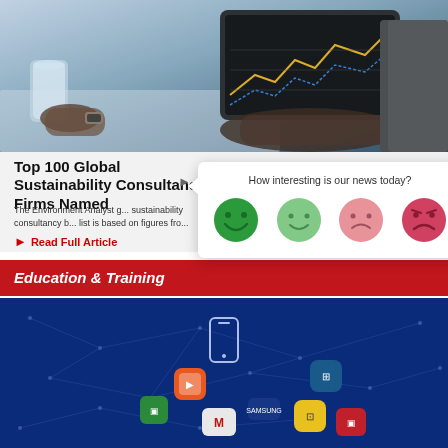[Figure (photo): Person holding tablet showing financial chart, with glass of water on the side, business setting]
Top 100 Global Sustainability Consultancy Firms Named
The Environment Analyst g... sustainability consultancy b... list is based on figures fro...
▶ Read Full Article
[Figure (infographic): Feedback popup asking 'How interesting is our news today?' with four emoji faces ranging from very happy (dark green) to happy (light green) to slightly sad (pink) to very sad (dark pink/red)]
Education & Training
[Figure (illustration): Dark blue background with connected dots network and colorful app icons (Gmail, Samsung, and others) floating in the center]